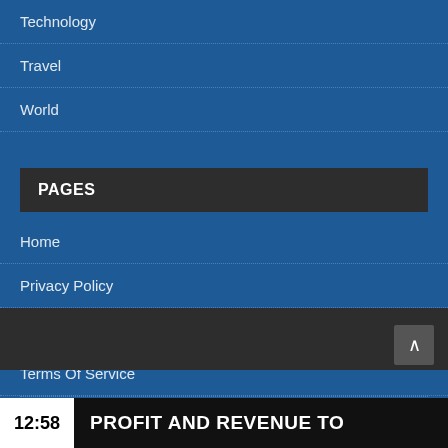Technology
Travel
World
PAGES
Home
Privacy Policy
Shop
Terms Of Service
SEARCH ...
12:58   PROFIT AND REVENUE TO